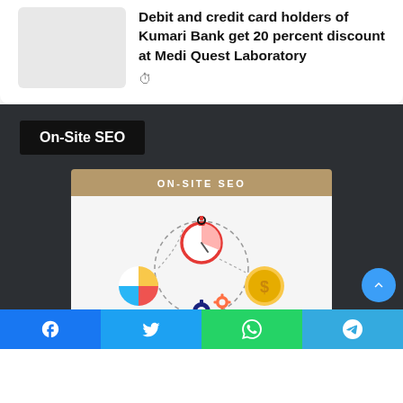Debit and credit card holders of Kumari Bank get 20 percent discount at Medi Quest Laboratory
🕐
On-Site SEO
[Figure (infographic): On-Site SEO infographic showing a stopwatch/timer, pie chart, dollar coin, and gear icons connected by dashed circle lines on a light background, with 'ON-SITE SEO' header bar in tan/brown color]
[Figure (other): Blue circular scroll-to-top button with upward chevron arrow]